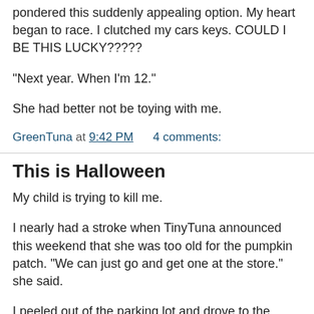pondered this suddenly appealing option. My heart began to race. I clutched my cars keys. COULD I BE THIS LUCKY?????
"Next year. When I'm 12."
She had better not be toying with me.
GreenTuna at 9:42 PM    4 comments:
This is Halloween
My child is trying to kill me.
I nearly had a stroke when TinyTuna announced this weekend that she was too old for the pumpkin patch. "We can just go and get one at the store." she said.
I peeled out of the parking lot and drove to the store as fast as possible before she changed her mind ... or aliens let her re-enter her body .. or sucked me out of this hella pleasant